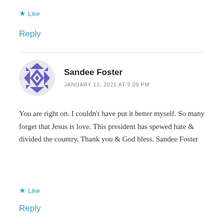★ Like
Reply
Sandee Foster
JANUARY 13, 2021 AT 9:09 PM
You are right on. I couldn't have put it better myself. So many forget that Jesus is love. This president has spewed hate & divided the country. Thank you & God bless. Sandee Foster
★ Like
Reply